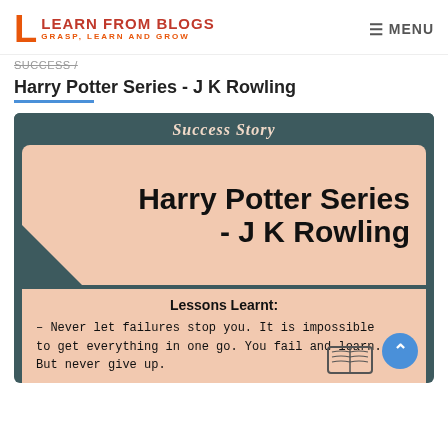LEARN FROM BLOGS — GRASP, LEARN AND GROW | MENU
SUCCESS /
Harry Potter Series - J K Rowling
[Figure (infographic): Infographic with dark teal background, labeled 'Success Story' at top, large peach/salmon box with 'Harry Potter Series - J K Rowling' in bold black text, and a lower peach box with 'Lessons Learnt:' heading and text '– Never let failures stop you. It is impossible to get everything in one go. You fail and learn. But never give up.' with a small book icon]
Success Story — Harry Potter Series - J K Rowling. Lessons Learnt: – Never let failures stop you. It is impossible to get everything in one go. You fail and learn. But never give up.